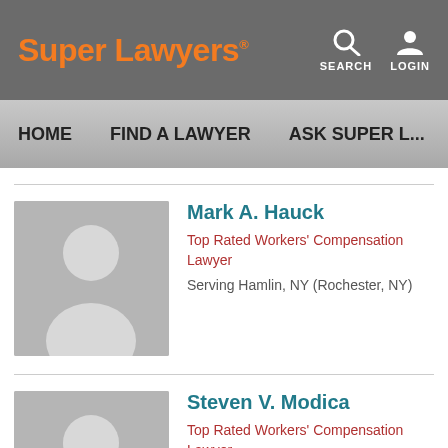Super Lawyers — SEARCH LOGIN
HOME   FIND A LAWYER   ASK SUPER L...
Mark A. Hauck
Top Rated Workers' Compensation Lawyer
Serving Hamlin, NY (Rochester, NY)
Steven V. Modica
Top Rated Workers' Compensation Lawyer
Serving Hamlin, NY (Rochester, NY)
Danielle O. Nelson